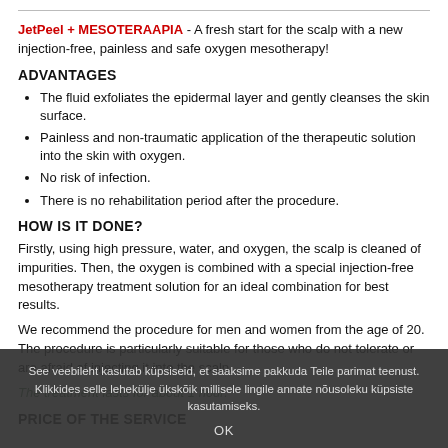JetPeel + MESOTERAAPIA - A fresh start for the scalp with a new injection-free, painless and safe oxygen mesotherapy!
ADVANTAGES
The fluid exfoliates the epidermal layer and gently cleanses the skin surface.
Painless and non-traumatic application of the therapeutic solution into the skin with oxygen.
No risk of infection.
There is no rehabilitation period after the procedure.
HOW IS IT DONE?
Firstly, using high pressure, water, and oxygen, the scalp is cleaned of impurities. Then, the oxygen is combined with a special injection-free mesotherapy treatment solution for an ideal combination for best results.
We recommend the procedure for men and women from the age of 20. The procedure is particularly suitable for those who do not tolerate or are afraid of injecting it into the scalp.
The treatment lasts for about 1 hour.
PRICE OF THE SERVICE
See veebileht kasutab küpsiseid, et saaksime pakkuda Teile parimat teenust. Klikkides selle lehekülje ükskõik millisele lingile annate nõusoleku küpsiste kasutamiseks.
OK